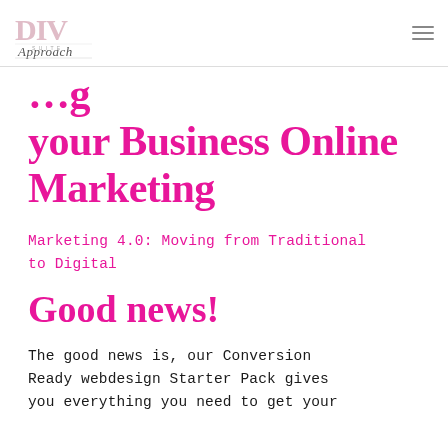[Figure (logo): DIV Approach logo in pink and grey script lettering]
…your Business Online Marketing
Marketing 4.0: Moving from Traditional to Digital
Good news!
The good news is, our Conversion Ready webdesign Starter Pack gives you everything you need to get your